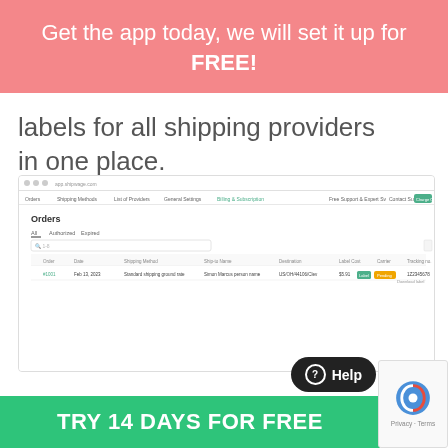Get the app today, we will set it up for FREE!
labels for all shipping providers in one place.
[Figure (screenshot): App screenshot showing an Orders management interface with a table listing orders, shipping methods, destinations, and status badges including a green action button.]
TRY 14 DAYS FOR FREE